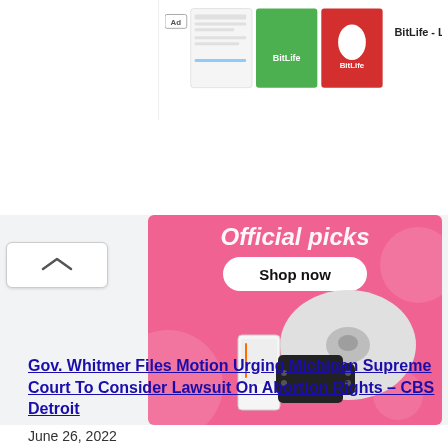[Figure (screenshot): Ad banner showing BitLife app advertisement with logo images in top right corner]
[Figure (infographic): Pink promotional banner showing 'Official picks' text with 'Shop now' button and product images including a robot vacuum and Nintendo Switch]
Gov. Whitmer Files Motion Urging Michigan Supreme Court To Consider Lawsuit On Abortion Rights – CBS Detroit
June 26, 2022